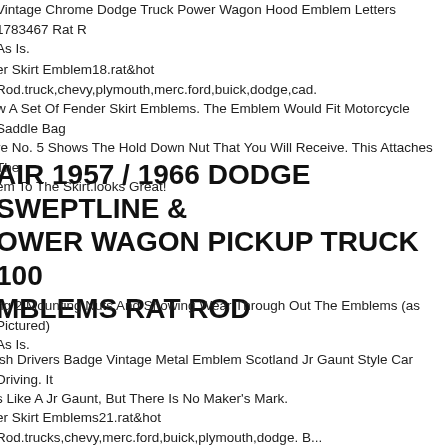Vintage Chrome Dodge Truck Power Wagon Hood Emblem Letters 1783467 Rat R... As Is.
er Skirt Emblem18.rat&hot Rod.truck,chevy,plymouth,merc.ford,buick,dodge,cad... w A Set Of Fender Skirt Emblems. The Emblem Would Fit Motorcycle Saddle Bag... re No. 5 Shows The Hold Down Nut That You Will Receive. This Attaches The em To The Skirt.looks Great!
AIR 1957 / 1966 DODGE SWEPTLINE & OWER WAGON PICKUP TRUCK 100 MBLEMS RAT ROD
ng 2 Mounting Nuts And Showing Wear Through Out The Emblems (as Pictured)... As Is.
ish Drivers Badge Vintage Metal Emblem Scotland Jr Gaunt Style Car Driving. It ... s Like A Jr Gaunt, But There Is No Maker's Mark.
er Skirt Emblems21.rat&hot Rod.trucks,chevy,merc.ford,buick,plymouth,dodge. B... A Set Of Fender Skirt Emblems, No. 21. The Emblem Would Fit Motorcycle Sadd...